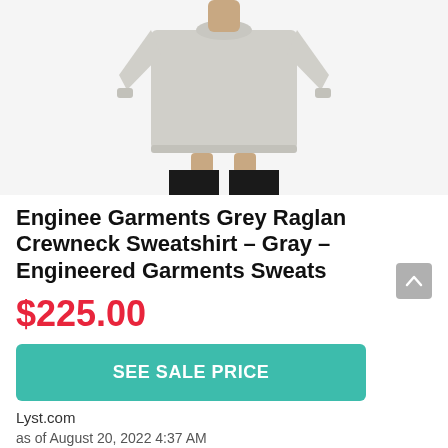[Figure (photo): Person wearing a light grey crewneck raglan sweatshirt with black pants, shown from shoulders to mid-thigh, torso/product view on white background]
Enginee Garments Grey Raglan Crewneck Sweatshirt - Gray - Engineered Garments Sweats
$225.00
SEE SALE PRICE
Lyst.com
as of August 20, 2022 4:37 AM